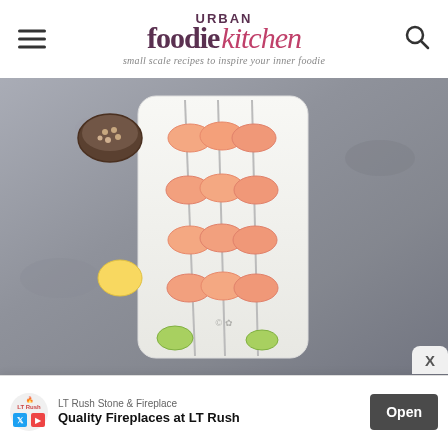Urban Foodie Kitchen — small scale recipes to inspire your inner foodie
[Figure (photo): Overhead view of grilled shrimp skewers arranged on a white rectangular plate, with lime wedges, lemon slices, and a small bowl of toppings on a dark stone surface.]
Grilled Margarita Shrimp
Author: Kathryn | Urban Foodie Kitchen
[Figure (infographic): Advertisement banner for LT Rush Stone & Fireplace: 'Quality Fireplaces at LT Rush' with an Open button.]